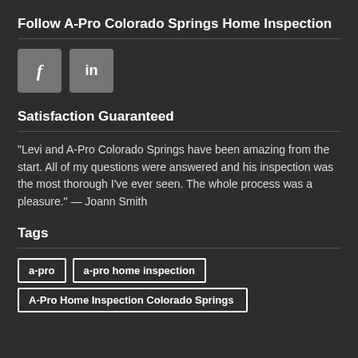Follow A-Pro Colorado Springs Home Inspection
[Figure (illustration): Social media icons: Facebook (f) and LinkedIn (in) as grey rounded-square buttons]
Satisfaction Guaranteed
"Levi and A-Pro Colorado Springs have been amazing from the start. All of my questions were answered and his inspection was the most thorough I've ever seen. The whole process was a pleasure." — Joann Smith
Tags
a-pro
a-pro home inspection
A-Pro Home Inspection Colorado Springs